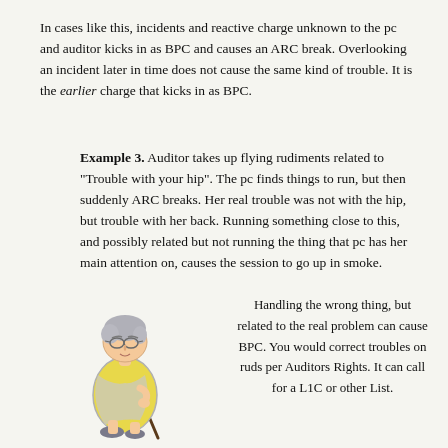In cases like this, incidents and reactive charge unknown to the pc and auditor kicks in as BPC and causes an ARC break. Overlooking an incident later in time does not cause the same kind of trouble. It is the earlier charge that kicks in as BPC.
Example 3. Auditor takes up flying rudiments related to "Trouble with your hip". The pc finds things to run, but then suddenly ARC breaks. Her real trouble was not with the hip, but trouble with her back. Running something close to this, and possibly related but not running the thing that pc has her main attention on, causes the session to go up in smoke.
[Figure (illustration): Cartoon illustration of an elderly woman wearing glasses and a yellow dress, hunched over a cane, walking.]
Handling the wrong thing, but related to the real problem can cause BPC. You would correct troubles on ruds per Auditors Rights. It can call for a L1C or other List.